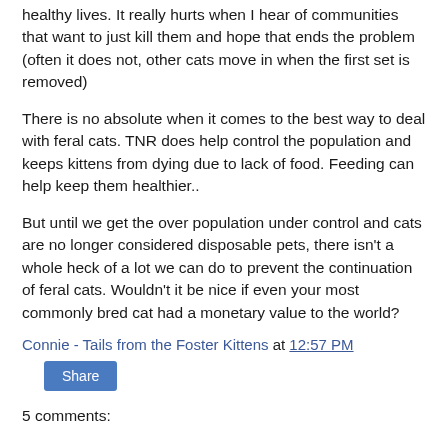healthy lives.  It really hurts when I hear of communities that want to just kill them and  hope that ends the problem (often it does not, other cats move in when the first set is removed)
There is no absolute when it comes to the best way to deal with feral cats.  TNR does help control the population and keeps kittens from dying due to lack of food.  Feeding can help keep them healthier..
But until we get the over population under control and cats are no longer considered disposable pets, there isn't a whole heck of a lot we can do to prevent the continuation of feral cats.  Wouldn't it be nice if even your most commonly bred cat had a monetary value to the world?
Connie - Tails from the Foster Kittens at 12:57 PM
Share
5 comments: